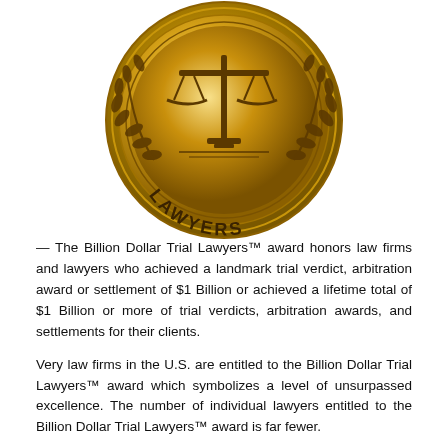[Figure (logo): Gold medal/seal with scales of justice and text 'LAWYERS' at the bottom arc, decorated with laurel branches]
— The Billion Dollar Trial Lawyers™ award honors law firms and lawyers who achieved a landmark trial verdict, arbitration award or settlement of $1 Billion or achieved a lifetime total of $1 Billion or more of trial verdicts, arbitration awards, and settlements for their clients.
Very law firms in the U.S. are entitled to the Billion Dollar Trial Lawyers™ award which symbolizes a level of unsurpassed excellence. The number of individual lawyers entitled to the Billion Dollar Trial Lawyers™ award is far fewer.
The Billion Dollar Trial Lawyers™ award represents unparalleled trial skills of a small handful of law firms and lawyers in the nation